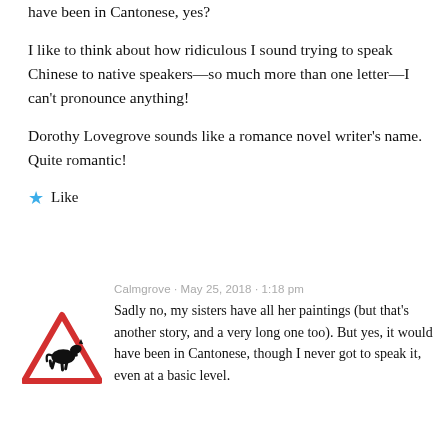have been in Cantonese, yes?
I like to think about how ridiculous I sound trying to speak Chinese to native speakers—so much more than one letter—I can't pronounce anything!
Dorothy Lovegrove sounds like a romance novel writer's name. Quite romantic!
★ Like
[Figure (illustration): Avatar icon: a red triangular warning road sign containing a black silhouette of a unicorn (horse with horn)]
Calmgrove · May 25, 2018 · 1:18 pm
Sadly no, my sisters have all her paintings (but that's another story, and a very long one too). But yes, it would have been in Cantonese, though I never got to speak it, even at a basic level.